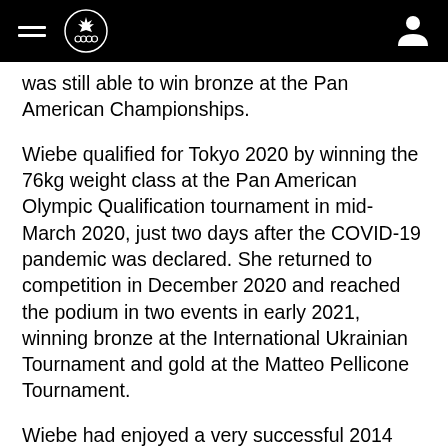Canadian Olympic Committee navigation header
was still able to win bronze at the Pan American Championships.
Wiebe qualified for Tokyo 2020 by winning the 76kg weight class at the Pan American Olympic Qualification tournament in mid-March 2020, just two days after the COVID-19 pandemic was declared. She returned to competition in December 2020 and reached the podium in two events in early 2021, winning bronze at the International Ukrainian Tournament and gold at the Matteo Pellicone Tournament.
Wiebe had enjoyed a very successful 2014 season in which she won every individual tournament she entered, a streak of 36 matches, until the world championships quarterfinals. Among her notable victories were gold medals at